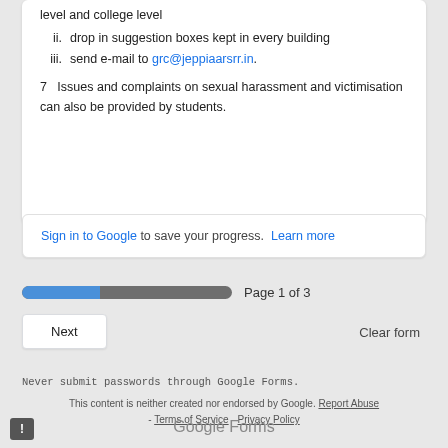level and college level
ii. drop in suggestion boxes kept in every building
iii. send e-mail to grc@jeppiaarsrr.in.
7  Issues and complaints on sexual harassment and victimisation can also be provided by students.
Sign in to Google to save your progress. Learn more
Page 1 of 3
Next
Clear form
Never submit passwords through Google Forms.
This content is neither created nor endorsed by Google. Report Abuse - Terms of Service - Privacy Policy
Google Forms